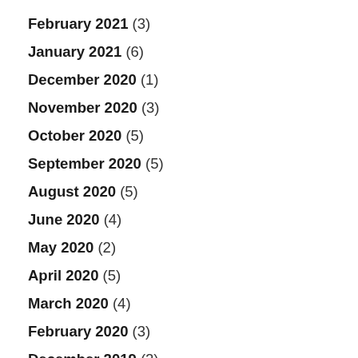February 2021 (3)
January 2021 (6)
December 2020 (1)
November 2020 (3)
October 2020 (5)
September 2020 (5)
August 2020 (5)
June 2020 (4)
May 2020 (2)
April 2020 (5)
March 2020 (4)
February 2020 (3)
December 2019 (2)
November 2019 (1)
October 2019 (2)
August 2019 (3)
July 2019 (3)